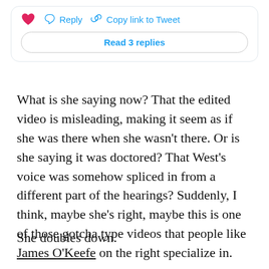[Figure (screenshot): Twitter/social media tweet card UI showing a heart icon, Reply button, Copy link to Tweet button, and a 'Read 3 replies' button]
What is she saying now? That the edited video is misleading, making it seem as if she was there when she wasn't there. Or is she saying it was doctored? That West's voice was somehow spliced in from a different part of the hearings? Suddenly, I think, maybe she's right, maybe this is one of those gotcha type videos that people like James O'Keefe on the right specialize in.
She doubles down.